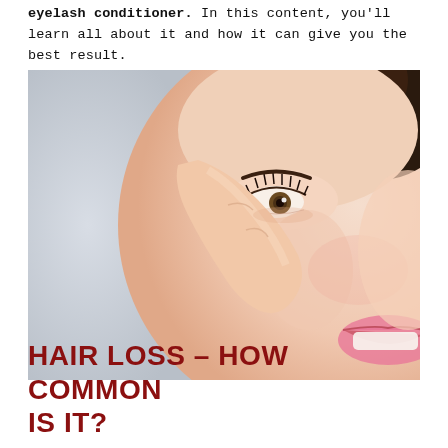eyelash conditioner. In this content, you'll learn all about it and how it can give you the best result.
[Figure (photo): Close-up photo of a smiling Asian woman touching the area beside her eye with her finger, showcasing eyelashes and skin.]
HAIR LOSS – HOW COMMON IS IT?